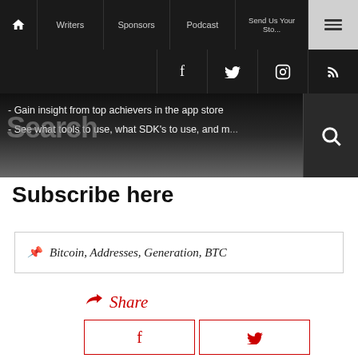Home | Writers | Sponsors | Podcast | Send Us Your Sto... | Menu
[Figure (screenshot): Social media icons: Facebook, Twitter, Instagram, RSS feed in dark navigation bar]
- Gain insight from top achievers in the app store
- See what tools to use, what SDK's to use, and m...
Search
Subscribe here
📌 Bitcoin, Addresses, Generation, BTC
↩ Share
[Figure (screenshot): Facebook and Twitter share buttons with red outlines]